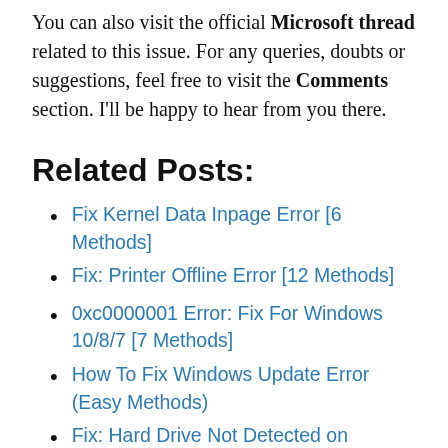You can also visit the official Microsoft thread related to this issue. For any queries, doubts or suggestions, feel free to visit the Comments section. I'll be happy to hear from you there.
Related Posts:
Fix Kernel Data Inpage Error [6 Methods]
Fix: Printer Offline Error [12 Methods]
0xc0000001 Error: Fix For Windows 10/8/7 [7 Methods]
How To Fix Windows Update Error (Easy Methods)
Fix: Hard Drive Not Detected on Windows 10